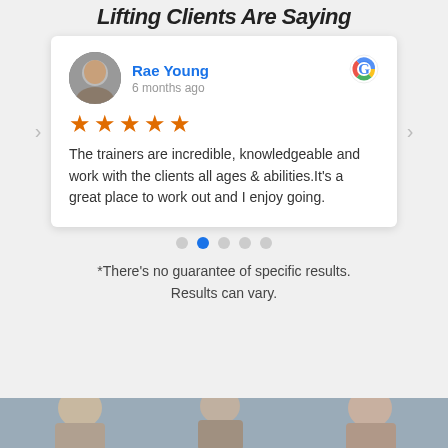Lifting Clients Are Saying
[Figure (photo): Review card with reviewer photo (Rae Young), Google G logo, 5 orange stars, and review text. Navigation arrows on left and right. Carousel dots below.]
Rae Young
6 months ago
★★★★★
The trainers are incredible, knowledgeable and work with the clients all ages & abilities.It's a great place to work out and I enjoy going.
*There's no guarantee of specific results. Results can vary.
[Figure (photo): Bottom strip showing group of people, partial cut-off at bottom of page.]